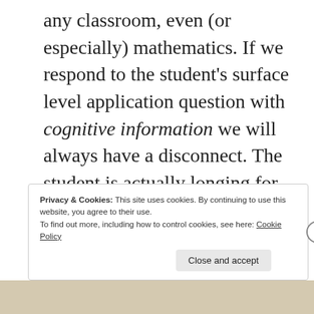any classroom, even (or especially) mathematics. If we respond to the student's surface level application question with cognitive information we will always have a disconnect. The student is actually longing for affective formation – however you want to parse that, into motivation or engagement or attitude or something else. The main thing is it is more than just being about what they know.
Privacy & Cookies: This site uses cookies. By continuing to use this website, you agree to their use. To find out more, including how to control cookies, see here: Cookie Policy
Close and accept